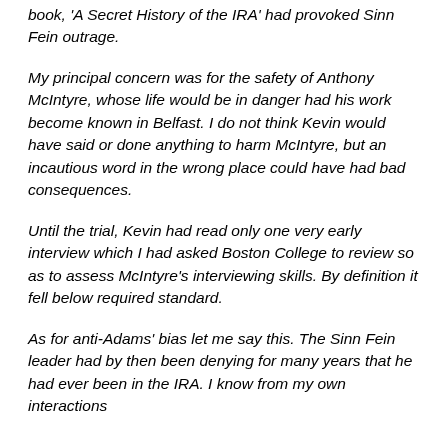book, 'A Secret History of the IRA' had provoked Sinn Fein outrage.
My principal concern was for the safety of Anthony McIntyre, whose life would be in danger had his work become known in Belfast. I do not think Kevin would have said or done anything to harm McIntyre, but an incautious word in the wrong place could have had bad consequences.
Until the trial, Kevin had read only one very early interview which I had asked Boston College to review so as to assess McIntyre's interviewing skills. By definition it fell below required standard.
As for anti-Adams' bias let me say this. The Sinn Fein leader had by then been denying for many years that he had ever been in the IRA. I know from my own interactions